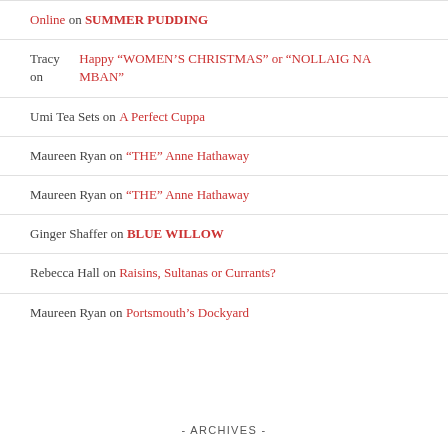Online on SUMMER PUDDING
Tracy on Happy “WOMEN’S CHRISTMAS” or “NOLLAIG NA MBAN”
Umi Tea Sets on A Perfect Cuppa
Maureen Ryan on “THE” Anne Hathaway
Maureen Ryan on “THE” Anne Hathaway
Ginger Shaffer on BLUE WILLOW
Rebecca Hall on Raisins, Sultanas or Currants?
Maureen Ryan on Portsmouth’s Dockyard
- ARCHIVES -